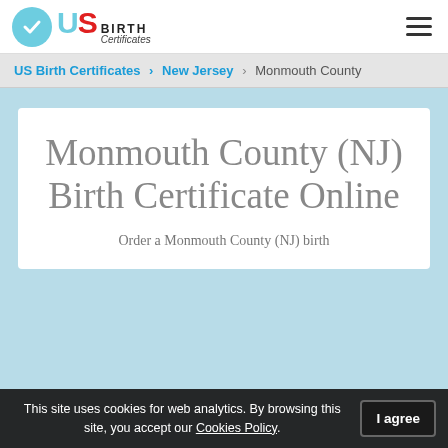US Birth Certificates logo and hamburger menu
US Birth Certificates > New Jersey > Monmouth County
Monmouth County (NJ) Birth Certificate Online
Order a Monmouth County (NJ) birth
This site uses cookies for web analytics. By browsing this site, you accept our Cookies Policy. I agree